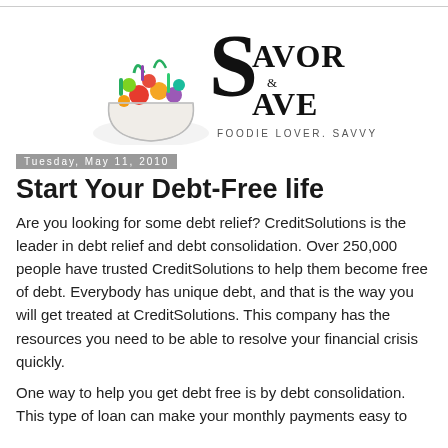[Figure (logo): Savor & Save logo with grocery basket illustration and text 'FOODIE LOVER. SAVVY SHOPPER.']
Tuesday, May 11, 2010
Start Your Debt-Free life
Are you looking for some debt relief? CreditSolutions is the leader in debt relief and debt consolidation. Over 250,000 people have trusted CreditSolutions to help them become free of debt. Everybody has unique debt, and that is the way you will get treated at CreditSolutions. This company has the resources you need to be able to resolve your financial crisis quickly.
One way to help you get debt free is by debt consolidation. This type of loan can make your monthly payments easy to